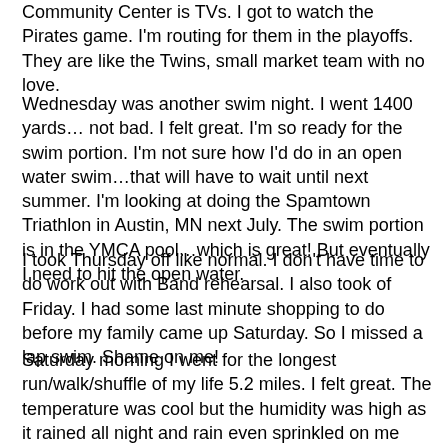Community Center is TVs. I got to watch the Pirates game. I'm routing for them in the playoffs. They are like the Twins, small market team with no love.
Wednesday was another swim night.  I went 1400 yards…not bad.  I felt great.  I'm so ready for the swim portion. I'm not sure how I'd do in an open water swim…that will have to wait until next summer. I'm looking at doing the Spamtown Triathlon in Austin, MN next July. The swim portion is in the YMCA pool…which is great!  But eventually I need to hit the open water.
I took Thursday off like normal. I don't have time to do work out with Band rehearsal. I also took of Friday. I had some last minute shopping to do before my family came up Saturday.  So I missed a lap swim. Shame on me!
Saturday morning I went for the longest run/walk/shuffle of my life 5.2 miles. I felt great. The temperature was cool but the humidity was high as it rained all night and rain even sprinkled on me during the beginning of the run…but I stuck it out and kept going.  By the time I came out of the woods,